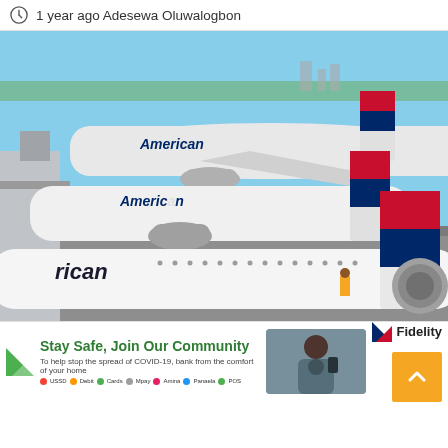1 year ago Adesewa Oluwalogbon
[Figure (photo): Multiple American Airlines aircraft parked at an airport gate, showing the planes' fuselages with 'American' livery and distinctive red, white, and blue tail fins. Airport tarmac visible with ground crew.]
[Figure (infographic): Fidelity Bank advertisement banner: 'Stay Safe, Join Our Community. To help stop the spread of COVID-19, bank from the comfort of your home.' Shows a person taking a selfie, Fidelity Bank logo, and various banking app icons.]